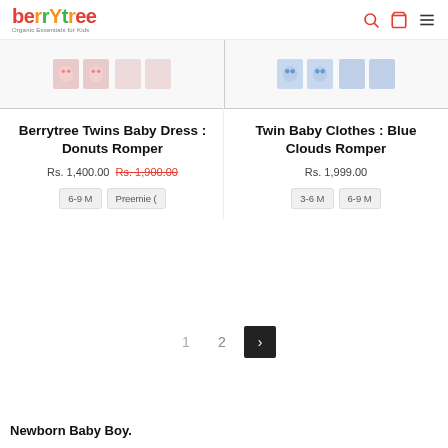berrytree - Organic Essentials for Kids
[Figure (photo): Product image thumbnails strip: left side shows Donuts Romper thumbnails (pink/red), right side shows Blue Clouds Romper thumbnails (blue)]
Berrytree Twins Baby Dress : Donuts Romper
Rs. 1,400.00 Rs. 1,900.00
6-9 M
Preemie (
Twin Baby Clothes : Blue Clouds Romper
Rs. 1,999.00
3-6 M
6-9 M
1  2  >
Newborn Baby Boy.